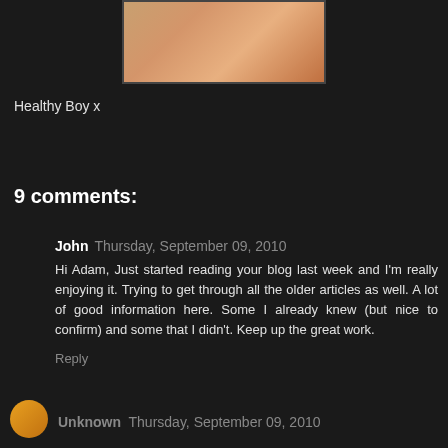[Figure (photo): Partial photo of a person's torso/chest area, cropped at top of page]
Healthy Boy x
9 comments:
John  Thursday, September 09, 2010
Hi Adam, Just started reading your blog last week and I'm really enjoying it. Trying to get through all the older articles as well. A lot of good information here. Some I already knew (but nice to confirm) and some that I didn't. Keep up the great work.
Reply
[Figure (photo): Orange/yellow circular avatar icon at bottom left]
Unknown  Thursday, September 09, 2010